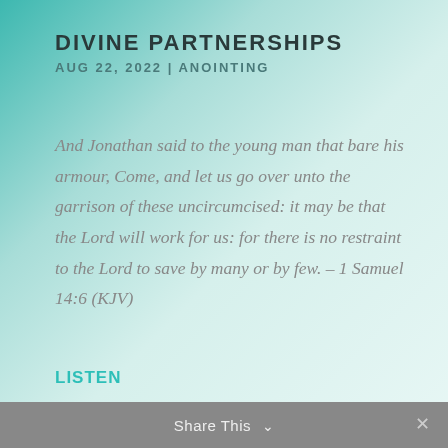DIVINE PARTNERSHIPS
AUG 22, 2022 | ANOINTING
And Jonathan said to the young man that bare his armour, Come, and let us go over unto the garrison of these uncircumcised: it may be that the Lord will work for us: for there is no restraint to the Lord to save by many or by few. – 1 Samuel 14:6 (KJV)
LISTEN
Share This ˅ ✕